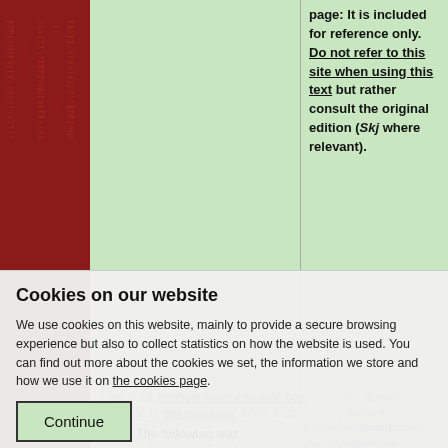[Figure (illustration): Red runic strip on left side with carved runic text pattern]
page: It is included for reference only. Do not refer to this site when using this text but rather consult the original edition (Skj where relevant).
því hykk fleygjanda frakna (ferr jörð und menpverri) ítra eina at láta Auðunar
7 Vol. 3. 28. Hallfreðr vandræðaskáld Óttarsson (biog. vol. 1), Hákonardrápa, 7 [Vol. 3, 22. Hfr Hakdr 7]
Skj: Hallfreðr Óttarsson vandræðaskáld: Hákonardrápa
The following text is from a scanned page
Cookies on our website
We use cookies on this website, mainly to provide a secure browsing experience but also to collect statistics on how the website is used. You can find out more about the cookies we set, the information we store and how we use it on the cookies page.